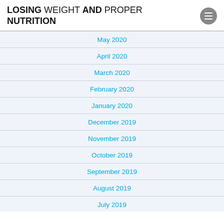LOSING WEIGHT AND PROPER NUTRITION
May 2020
April 2020
March 2020
February 2020
January 2020
December 2019
November 2019
October 2019
September 2019
August 2019
July 2019
June 2019